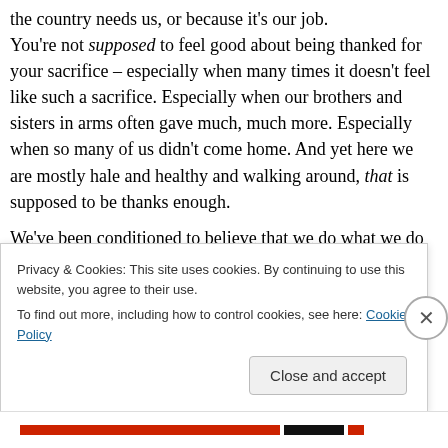the country needs us, or because it's our job. You're not supposed to feel good about being thanked for your sacrifice – especially when many times it doesn't feel like such a sacrifice. Especially when our brothers and sisters in arms often gave much, much more. Especially when so many of us didn't come home. And yet here we are mostly hale and healthy and walking around, that is supposed to be thanks enough. We've been conditioned to believe that we do what we do because it serves a higher purpose, not because
Privacy & Cookies: This site uses cookies. By continuing to use this website, you agree to their use. To find out more, including how to control cookies, see here: Cookie Policy